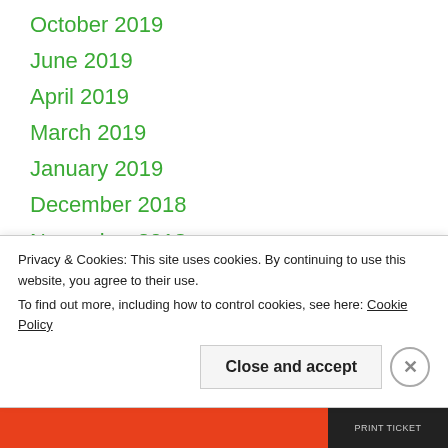October 2019
June 2019
April 2019
March 2019
January 2019
December 2018
November 2018
September 2018
August 2018
July 2018
June 2018
May 2018
Privacy & Cookies: This site uses cookies. By continuing to use this website, you agree to their use. To find out more, including how to control cookies, see here: Cookie Policy
Close and accept